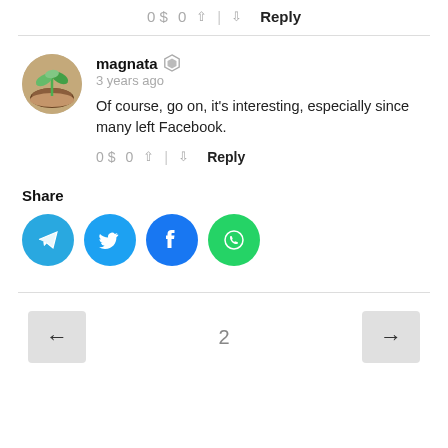0 $  0  ↑ | ↓  Reply
[Figure (photo): Circular avatar showing hands holding soil with green plant seedlings]
magnata  ◈
3 years ago
Of course, go on, it's interesting, especially since many left Facebook.
0 $  0  ↑ | ↓  Reply
Share
[Figure (infographic): Four social media share buttons: Telegram (blue), Twitter (light blue), Facebook (blue), WhatsApp (green)]
← 2 →